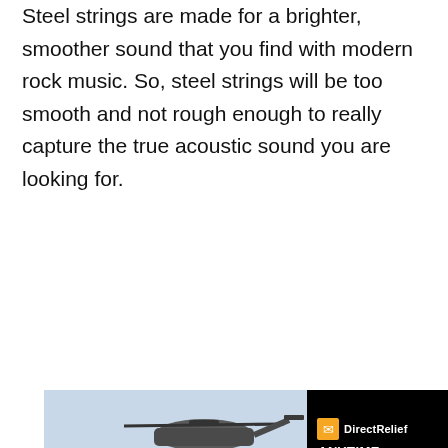Steel strings are made for a brighter, smoother sound that you find with modern rock music. So, steel strings will be too smooth and not rough enough to really capture the true acoustic sound you are looking for.
[Figure (photo): Advertisement banner: left half shows a military helicopter with personnel unloading cargo; right half is black with Direct Relief logo and text 'ANYTIME. ANYWHERE. ANYONE IN NEED.']
[Figure (photo): Advertisement banner: left portion shows a colorful airplane being loaded with cargo; right portion has gray background with text 'WITHOUT REGARD TO POLITICS, RELIGION, OR ABILITY TO PAY.']